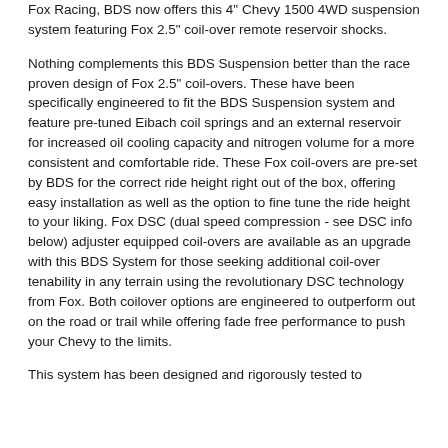Fox Racing, BDS now offers this 4" Chevy 1500 4WD suspension system featuring Fox 2.5" coil-over remote reservoir shocks.
Nothing complements this BDS Suspension better than the race proven design of Fox 2.5" coil-overs. These have been specifically engineered to fit the BDS Suspension system and feature pre-tuned Eibach coil springs and an external reservoir for increased oil cooling capacity and nitrogen volume for a more consistent and comfortable ride. These Fox coil-overs are pre-set by BDS for the correct ride height right out of the box, offering easy installation as well as the option to fine tune the ride height to your liking. Fox DSC (dual speed compression - see DSC info below) adjuster equipped coil-overs are available as an upgrade with this BDS System for those seeking additional coil-over tenability in any terrain using the revolutionary DSC technology from Fox. Both coilover options are engineered to outperform out on the road or trail while offering fade free performance to push your Chevy to the limits.
This system has been designed and rigorously tested to